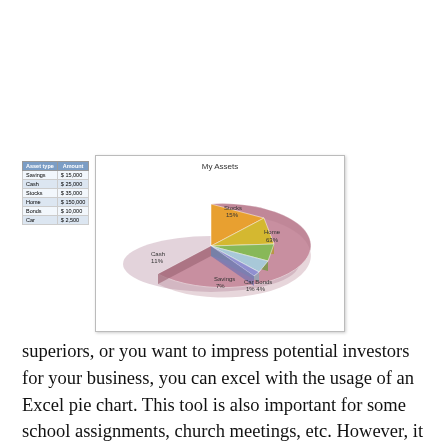| Asset type | Amount |
| --- | --- |
| Savings | $ 15,000 |
| Cash | $ 25,000 |
| Stocks | $ 35,000 |
| Home | $ 150,000 |
| Bonds | $ 10,000 |
| Car | $ 2,500 |
[Figure (pie-chart): My Assets]
superiors, or you want to impress potential investors for your business, you can excel with the usage of an Excel pie chart. This tool is also important for some school assignments, church meetings, etc. However, it is even